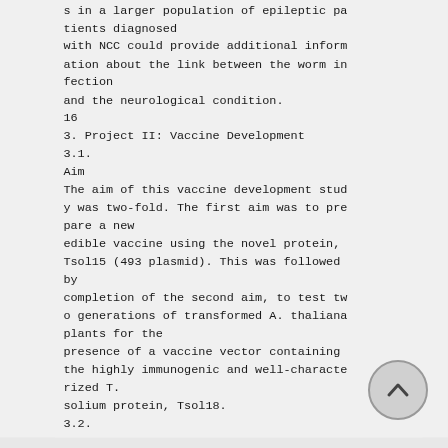s in a larger population of epileptic patients diagnosed with NCC could provide additional information about the link between the worm infection and the neurological condition.
16
3. Project II: Vaccine Development
3.1.
Aim
The aim of this vaccine development study was two-fold. The first aim was to prepare a new edible vaccine using the novel protein, Tsol15 (493 plasmid). This was followed by completion of the second aim, to test two generations of transformed A. thaliana plants for the presence of a vaccine vector containing the highly immunogenic and well-characterized T. solium protein, Tsol18.
3.2.